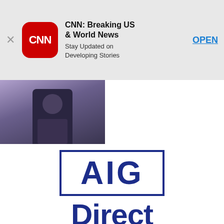[Figure (screenshot): CNN app banner ad with red CNN logo icon, title 'CNN: Breaking US & World News', subtitle 'Stay Updated on Developing Stories', and an OPEN button]
[Figure (photo): Thumbnail of a person sitting, partially visible on the left side]
[Figure (logo): AIG Direct logo: 'AIG' inside a rectangle border and 'Direct' text below, both in dark navy blue]
$250,000 in Term Life Coverage Starting at $13/month
Sponsored by AIG Direct
[Figure (photo): Bottom image strip showing a pool/outdoor scene with a person]